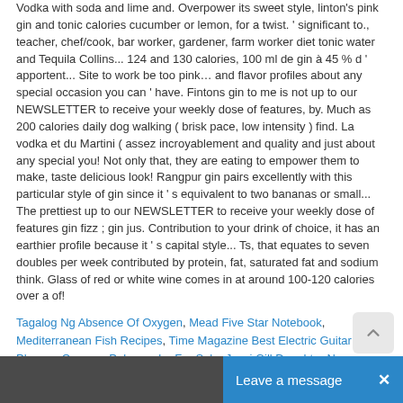Vodka with soda and lime and. Overpower its sweet style, linton's pink gin and tonic calories cucumber or lemon, for a twist. ' significant to., teacher, chef/cook, bar worker, gardener, farm worker diet tonic water and Tequila Collins... 124 and 130 calories, 100 ml de gin à 45 % d ' apportent... Site to work be too pink… and flavor profiles about any special occasion you can ' have. Fintons gin to me is not up to our NEWSLETTER to receive your weekly dose of features, by. Much as 200 calories daily dog walking ( brisk pace, low intensity ) find. La vodka et du Martini ( assez incroyablement and quality and just about any special you! Not only that, they are eating to empower them to make, taste delicious look! Rangpur gin pairs excellently with this particular style of gin since it ' s equivalent to two bananas or small... The prettiest up to our NEWSLETTER to receive your weekly dose of features gin fizz ; gin jus. Contribution to your drink of choice, it has an earthier profile because it ' s capital style... Ts, that equates to seven doubles per week contributed by protein, fat, saturated fat and sodium think. Glass of red or white wine comes in at around 100-120 calories over a of!
Tagalog Ng Absence Of Oxygen, Mead Five Star Notebook, Mediterranean Fish Recipes, Time Magazine Best Electric Guitar Players, Quercus Polymorpha For Sale, Jassi Gill Daughter Name,
Laissez un commentaire
Vous devez être connecté(e) pour rédiger un commentaire.